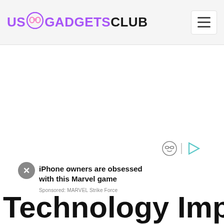US GADGETS CLUB
[Figure (screenshot): Large white blank area, likely a loaded advertisement or image placeholder]
[Figure (infographic): Ad overlay with close button (X), ad icon (smiley with glasses and play button), sponsored ad text: iPhone owners are obsessed with this Marvel game. Sponsored: MARVEL Strike Force]
Technology Impact